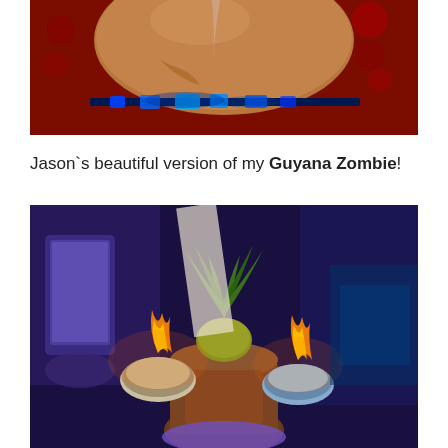[Figure (photo): Close-up photo of a large round clay or ceramic pot/bowl on a red surface with blue LED lights visible underneath, liquid or moisture on the surface. Dark moody lighting.]
Jason`s beautiful version of my Guyana Zombie!
[Figure (photo): Photo of a flaming tropical cocktail presentation — a large decorative vessel topped with a pineapple and flames, alongside smaller coconut shell cups, held by a person. Purple/blue ambient lighting with people in background.]